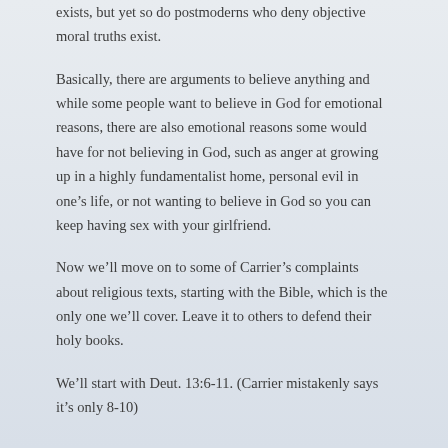exists, but yet so do postmoderns who deny objective moral truths exist.
Basically, there are arguments to believe anything and while some people want to believe in God for emotional reasons, there are also emotional reasons some would have for not believing in God, such as anger at growing up in a highly fundamentalist home, personal evil in one’s life, or not wanting to believe in God so you can keep having sex with your girlfriend.
Now we’ll move on to some of Carrier’s complaints about religious texts, starting with the Bible, which is the only one we’ll cover. Leave it to others to defend their holy books.
We’ll start with Deut. 13:6-11. (Carrier mistakenly says it’s only 8-10)